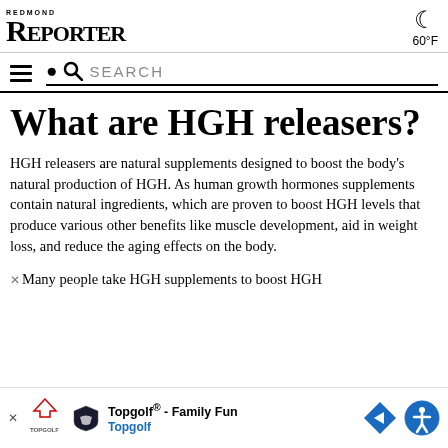REDMOND REPORTER  60°F
SEARCH
What are HGH releasers?
HGH releasers are natural supplements designed to boost the body's natural production of HGH. As human growth hormones supplements contain natural ingredients, which are proven to boost HGH levels that produce various other benefits like muscle development, aid in weight loss, and reduce the aging effects on the body.
Many people take HGH supplements to boost HGH
[Figure (advertisement): Topgolf advertisement banner with logo, text 'Topgolf® - Family Fun', navigation arrow icon, and accessibility icon]